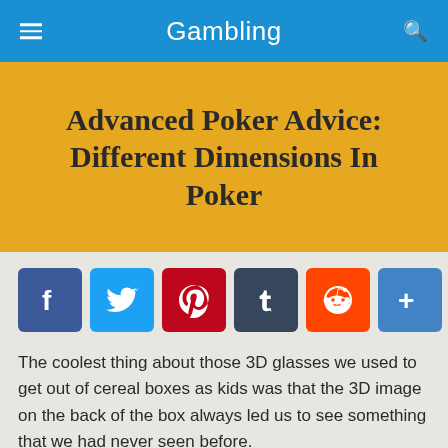Gambling
Advanced Poker Advice: Different Dimensions In Poker
[Figure (other): Social sharing buttons: Facebook, Twitter, Pinterest, Tumblr, Reddit, Share (plus icon)]
The coolest thing about those 3D glasses we used to get out of cereal boxes as kids was that the 3D image on the back of the box always led us to see something that we had never seen before.
How does this relate to poker?